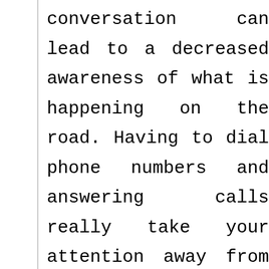conversation can lead to a decreased awareness of what is happening on the road. Having to dial phone numbers and answering calls really take your attention away from the road. It is hard to look at the dangers of using a cellular